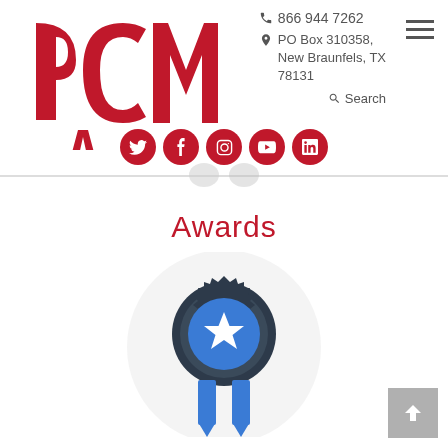PCMA | 866 944 7262 | PO Box 310358, New Braunfels, TX 78131 | Search
Awards
[Figure (illustration): Award medal icon: dark navy gear/badge outline with a blue circle in the center containing a white star, with blue ribbon hanging below, all on a light grey circular background]